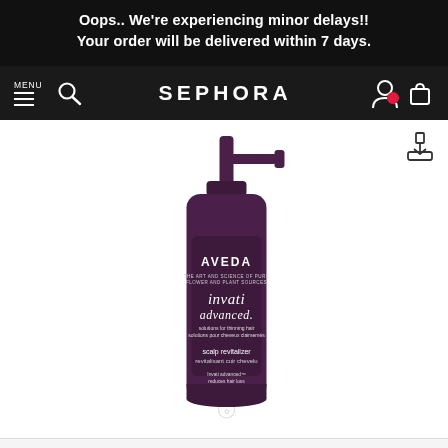Oops.. We're experiencing minor delays!! Your order will be delivered within 7 days.
MENU | SEPHORA
[Figure (photo): Aveda Invati Advanced Scalp Revitalizer product bottle with pump dispenser, dark purple/plum color, showing product label with AVEDA branding and 'invati advanced' text]
[Figure (other): Carousel pagination dots — 6 dots, first one filled/active, rest are empty circles]